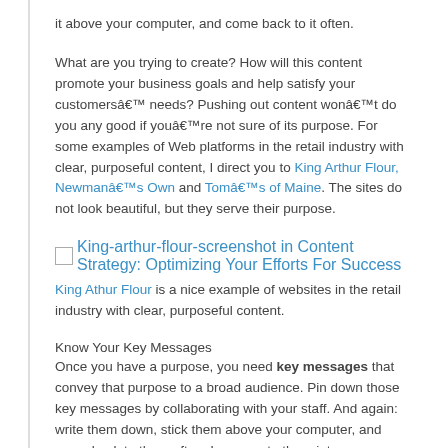it above your computer, and come back to it often.
What are you trying to create? How will this content promote your business goals and help satisfy your customersâ€™ needs? Pushing out content wonâ€™t do you any good if youâ€™re not sure of its purpose. For some examples of Web platforms in the retail industry with clear, purposeful content, I direct you to King Arthur Flour, Newmanâ€™s Own and Tomâ€™s of Maine. The sites do not look beautiful, but they serve their purpose.
[Figure (screenshot): King-arthur-flour-screenshot in Content Strategy: Optimizing Your Efforts For Success]
King Athur Flour is a nice example of websites in the retail industry with clear, purposeful content.
Know Your Key Messages
Once you have a purpose, you need key messages that convey that purpose to a broad audience. Pin down those key messages by collaborating with your staff. And again:Â write them down, stick them above your computer, and come back to them often. Incorporate them into your content creatively and as often as possible.